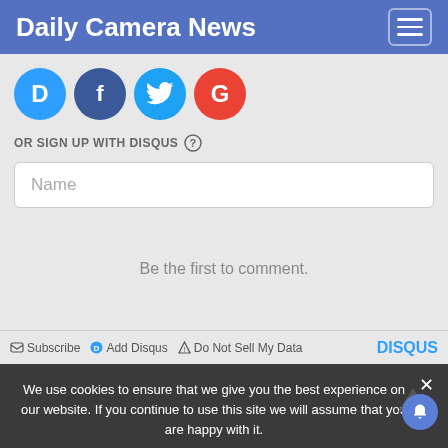Daily Camera News
[Figure (logo): Social login icons: Disqus (blue D), Facebook (blue f), Twitter (blue bird), Google (red G)]
OR SIGN UP WITH DISQUS
Name
Be the first to comment.
Subscribe  Add Disqus  Do Not Sell My Data  DISQUS
We use cookies to ensure that we give you the best experience on our website. If you continue to use this site we will assume that you are happy with it.
Ok
← Previous post: Canon   Next post: Sony A7r and